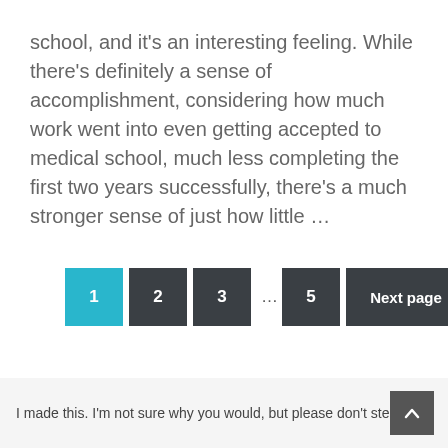school, and it's an interesting feeling. While there's definitely a sense of accomplishment, considering how much work went into even getting accepted to medical school, much less completing the first two years successfully, there's a much stronger sense of just how little …
1  2  3  ...  5  Next page
I made this. I'm not sure why you would, but please don't steal it.